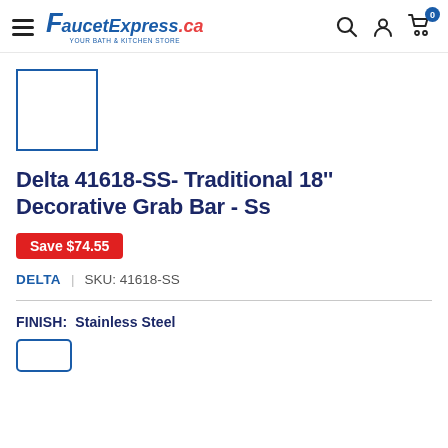FaucetExpress.ca — navigation bar with hamburger menu, logo, search, account, and cart icons
[Figure (photo): Small product thumbnail placeholder box with blue border, no image visible]
Delta 41618-SS- Traditional 18'' Decorative Grab Bar - Ss
Save $74.55
DELTA  |  SKU: 41618-SS
FINISH:  Stainless Steel